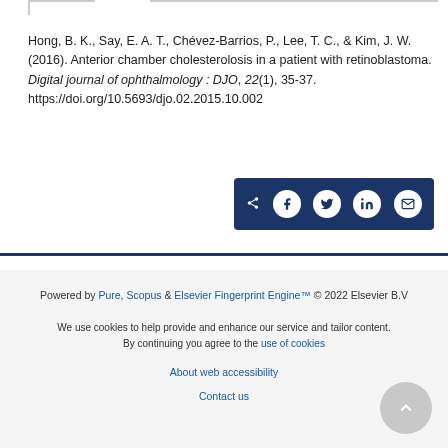Hong, B. K., Say, E. A. T., Chévez-Barrios, P., Lee, T. C., & Kim, J. W. (2016). Anterior chamber cholesterolosis in a patient with retinoblastoma. Digital journal of ophthalmology : DJO, 22(1), 35-37. https://doi.org/10.5693/djo.02.2015.10.002
[Figure (other): Social share bar with icons: share, Facebook, Twitter, LinkedIn, Email on dark blue background]
Powered by Pure, Scopus & Elsevier Fingerprint Engine™ © 2022 Elsevier B.V
We use cookies to help provide and enhance our service and tailor content. By continuing you agree to the use of cookies
About web accessibility
Contact us